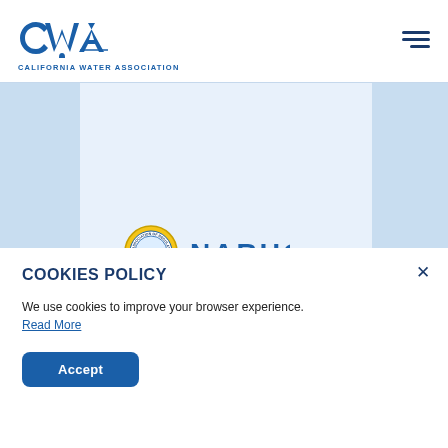[Figure (logo): CWA California Water Association logo in blue with text underneath]
[Figure (screenshot): Website background area showing light blue panels on left and right, center white/light blue area, and bottom portion of NARUC circular seal logo with 'NARUC' text visible]
COOKIES POLICY
We use cookies to improve your browser experience.
Read More
Accept